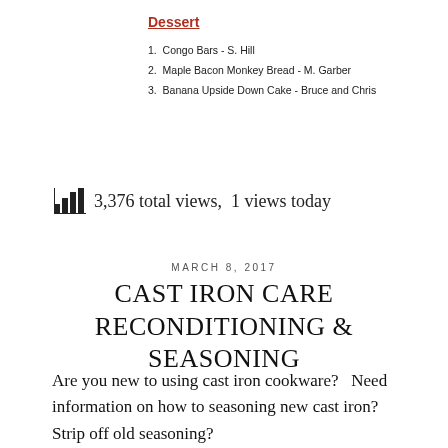Dessert
1.  Congo Bars - S. Hill
2.  Maple Bacon Monkey Bread - M. Garber
3.  Banana Upside Down Cake - Bruce and Chris
3,376 total views,  1 views today
MARCH 8, 2017
CAST IRON CARE RECONDITIONING & SEASONING
Are you new to using cast iron cookware?   Need information on how to seasoning new cast iron?  Strip off old seasoning?